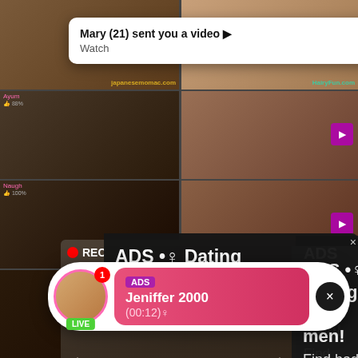[Figure (screenshot): Adult video streaming website screenshot with multiple thumbnail images, popup notifications and ads overlaid]
Mary (21) sent you a video ▶
Watch
ADS • ♀ Dating for men! Find bad girls here ♀
● REC
ADS Jeniffer 2000 (00:12)♀
LIVE
Ayum 88%
Naugh 100%
JapaneseMomac.com
HairyFun.com